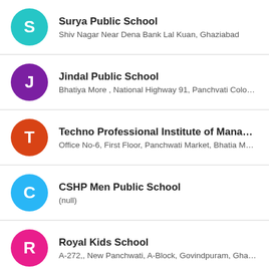Surya Public School
Shiv Nagar Near Dena Bank Lal Kuan, Ghaziabad
Jindal Public School
Bhatiya More , National Highway 91, Panchvati Colony, S...
Techno Professional Institute of Management...
Office No-6, First Floor, Panchwati Market, Bhatia More, ...
CSHP Men Public School
(null)
Royal Kids School
A-272,, New Panchwati, A-Block, Govindpuram, Ghaziab...
C.S.H.P Men Public School